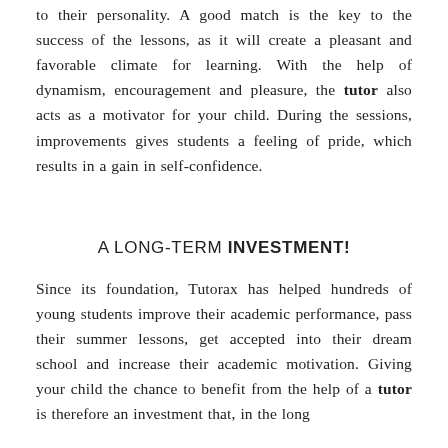to their personality. A good match is the key to the success of the lessons, as it will create a pleasant and favorable climate for learning. With the help of dynamism, encouragement and pleasure, the tutor also acts as a motivator for your child. During the sessions, improvements gives students a feeling of pride, which results in a gain in self-confidence.
A LONG-TERM INVESTMENT!
Since its foundation, Tutorax has helped hundreds of young students improve their academic performance, pass their summer lessons, get accepted into their dream school and increase their academic motivation. Giving your child the chance to benefit from the help of a tutor is therefore an investment that, in the long